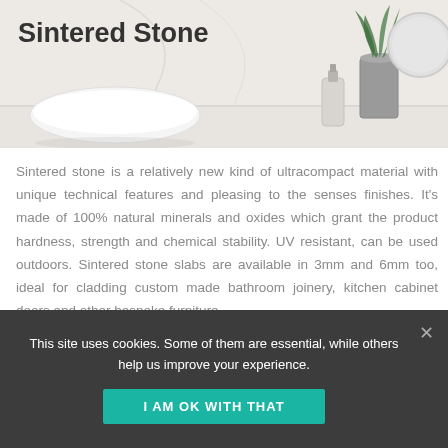[Figure (photo): Bathroom scene with sintered stone surface, white bowl, soap dispenser, cylindrical vase with plant, and round mirror. Title 'Sintered Stone' overlaid on image.]
Sintered stone is a relatively new kind of ultracompact material with unique technical features and pleasing to the senses finishes. It's made of 100% natural minerals and oxides which grant the product hardness, strength and chemical stability. UV resistant, can be used outdoors. Sintered stone slabs are available in 3mm and 6mm too, ideal for cladding custom made bathroom joinery, kitchen cabinet doors and other bespoke furniture.
This site uses cookies. Some of them are essential, while others help us improve your experience.
I AM OK WITH THAT